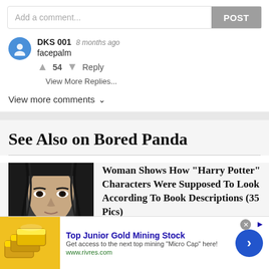Add a comment...
POST
DKS 001  8 months ago
facepalm
↑ 54 ↓  Reply
View More Replies...
View more comments ∨
See Also on Bored Panda
[Figure (photo): Dark-haired person with intense gaze, article thumbnail]
Woman Shows How "Harry Potter" Characters Were Supposed To Look According To Book Descriptions (35 Pics)
Top Junior Gold Mining Stock
Get access to the next top mining "Micro Cap" here!
www.rivres.com